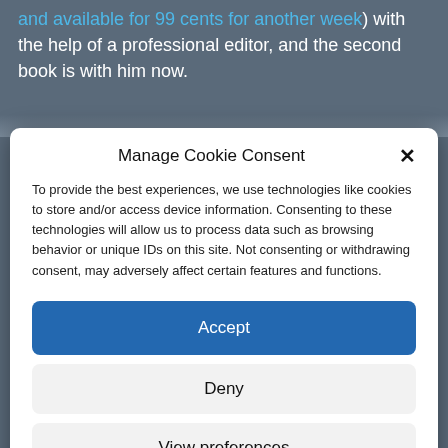and available for 99 cents for another week) with the help of a professional editor, and the second book is with him now.
Manage Cookie Consent
To provide the best experiences, we use technologies like cookies to store and/or access device information. Consenting to these technologies will allow us to process data such as browsing behavior or unique IDs on this site. Not consenting or withdrawing consent, may adversely affect certain features and functions.
Accept
Deny
View preferences
Cookie Policy